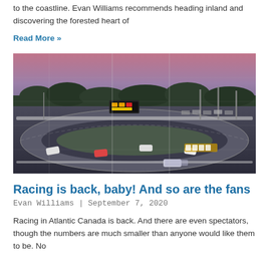to the coastline. Evan Williams recommends heading inland and discovering the forested heart of
Read More »
[Figure (photo): Aerial/elevated view of a racetrack at dusk with several stock cars racing on the oval track. A scoreboard with lights is visible in the background. A chain-link fence is visible in the foreground.]
Racing is back, baby! And so are the fans
Evan Williams | September 7, 2020
Racing in Atlantic Canada is back. And there are even spectators, though the numbers are much smaller than anyone would like them to be. No